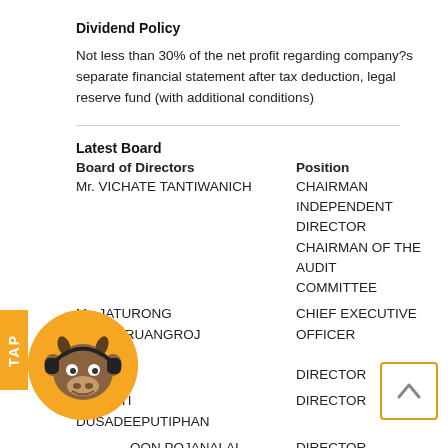Dividend Policy
Not less than 30% of the net profit regarding company?s separate financial statement after tax deduction, legal reserve fund (with additional conditions)
Latest Board
| Board of Directors | Position |
| --- | --- |
| Mr. VICHATE TANTIWANICH | CHAIRMAN
INDEPENDENT DIRECTOR
CHAIRMAN OF THE AUDIT COMMITTEE |
| Mr. JATURONG SRIKULRUANGROJ | CHIEF EXECUTIVE OFFICER

DIRECTOR |
| Mr. KITTI DUSADEEPUTIPHAN | DIRECTOR |
| ...SOON POJANALAI | DIRECTOR |
| ...OL NUNAK | DIRECTOR |
| ...SAENG-XUTO | INDEPENDENT DIRECTOR
AUDIT COMMITTEE |
| POL. MAJ. GEN. PITAK | INDEPENDENT DIRECTOR |
[Figure (illustration): Orange circular mascot with bull/ox character wearing headphones]
[Figure (other): Back to top button - box with upward arrow]